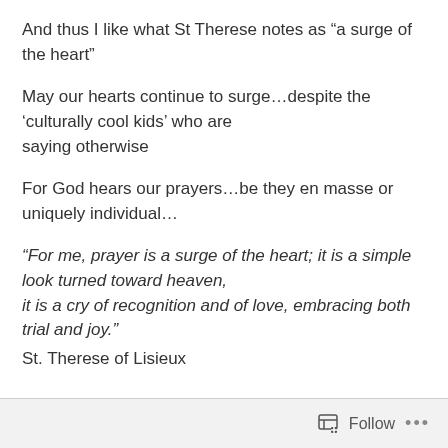And thus I like what St Therese notes as “a surge of the heart”
May our hearts continue to surge…despite the ‘culturally cool kids’ who are saying otherwise
For God hears our prayers…be they en masse or uniquely individual…
“For me, prayer is a surge of the heart; it is a simple look turned toward heaven, it is a cry of recognition and of love, embracing both trial and joy.”
St. Therese of Lisieux
Follow …